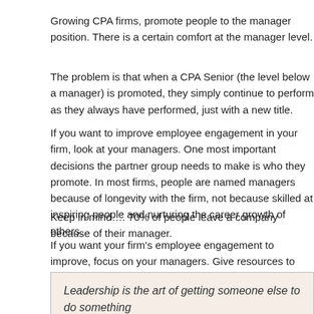Growing CPA firms, promote people to the manager position. There is a certain comfort at the manager level.
The problem is that when a CPA Senior (the level below a manager) is promoted, they simply continue to perform as they always have performed, just with a new title.
If you want to improve employee engagement in your firm, look at your managers. One most important decisions the partner group needs to make is who they promote. In most firms, people are named managers because of longevity with the firm, not because skilled at inspiring people and nurturing the career growth of others.
Keep in mind…. 70% of people leave a company because of their manager.
If you want your firm's employee engagement to improve, focus on your managers. Give resources to improve their management skills and provide workshops and coaching for people.
I have also observed that a skill that most managers need to develop is delegation. They need to be training their replacements. In a CPA firm, young people learn by working on more complex engagements.
Leadership is the art of getting something done because he wants to do it.